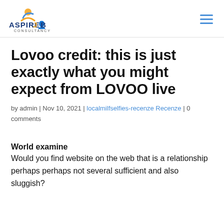[Figure (logo): AspireJob Consultancy logo with orange and blue icon and text]
Lovoo credit: this is just exactly what you might expect from LOVOO live
by admin | Nov 10, 2021 | localmilfselfies-recenze Recenze | 0 comments
World examine
Would you find website on the web that is a relationship perhaps perhaps not several sufficient and also sluggish?